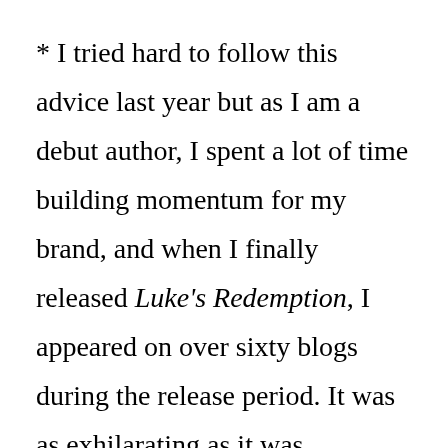* I tried hard to follow this advice last year but as I am a debut author, I spent a lot of time building momentum for my brand, and when I finally released Luke's Redemption, I appeared on over sixty blogs during the release period. It was as exhilarating as it was exhausting, because all my time was spent writing content for guest posts and then pushing social media to maximize